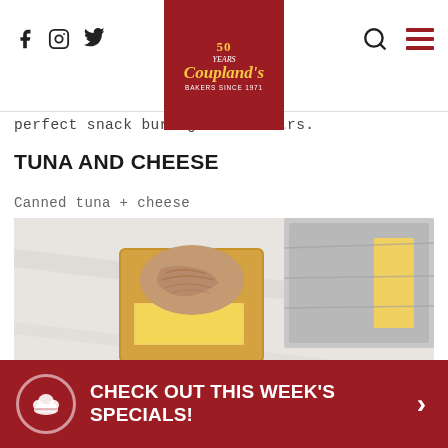Coupland's Bakers Since 1971 — navigation header with social icons (Facebook, Instagram, Twitter) and search/menu icons
perfect snack bursting with flavours.
TUNA AND CHEESE
Canned tuna + cheese
[Figure (photo): Overhead shot of golden-brown crackers/crispbreads topped with canned tuna and a slice of cheese, arranged on a marble surface with foil packaging visible in background]
CHECK OUT THIS WEEK'S SPECIALS!